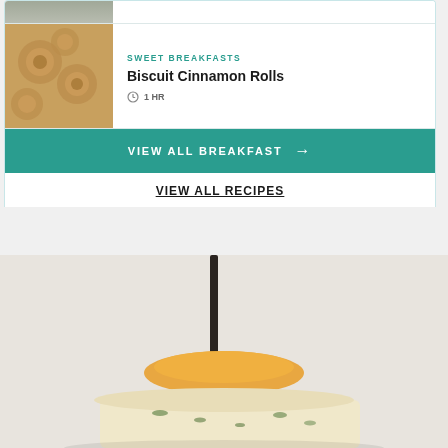[Figure (photo): Partial top row showing a baked item image clipped at top of card]
[Figure (photo): Cinnamon rolls with sugar topping, swirled pastry photo]
SWEET BREAKFASTS
Biscuit Cinnamon Rolls
1 HR
VIEW ALL BREAKFAST →
VIEW ALL RECIPES
[Figure (photo): Food photo with a dark skewer or pick through orange/yellow food on a light background, partially visible at bottom of page]